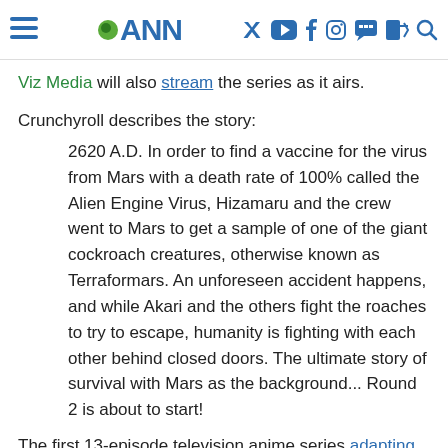ANN
Viz Media will also stream the series as it airs.
Crunchyroll describes the story:
2620 A.D. In order to find a vaccine for the virus from Mars with a death rate of 100% called the Alien Engine Virus, Hizamaru and the crew went to Mars to get a sample of one of the giant cockroach creatures, otherwise known as Terraformars. An unforeseen accident happens, and while Akari and the others fight the roaches to try to escape, humanity is fighting with each other behind closed doors. The ultimate story of survival with Mars as the background... Round 2 is about to start!
The first 13-episode television anime series adapting the